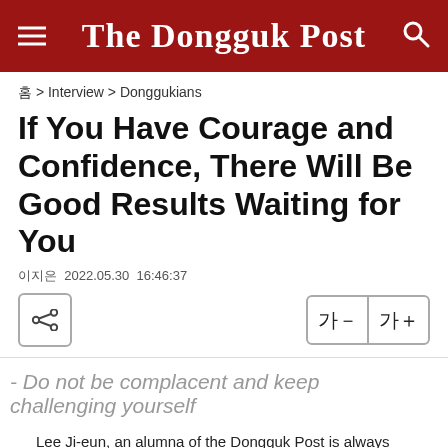The Dongguk Post
홈 > Interview > Donggukians
If You Have Courage and Confidence, There Will Be Good Results Waiting for You
이지은 2022.05.30  16:46:37
- Do not be complacent and keep challenging yourself
Lee Ji-eun, an alumna of the Dongguk Post is always moving toward a goal.
/Photography from Lee Ji-eun